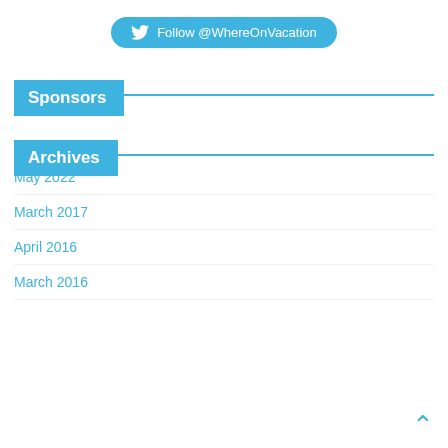[Figure (other): Twitter follow button with bird icon and text 'Follow @WhereOnVacation' on a rounded blue button]
Sponsors
Archives
May 2022
March 2017
April 2016
March 2016